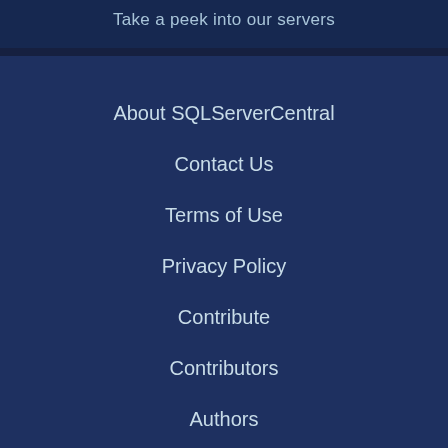Take a peek into our servers
About SQLServerCentral
Contact Us
Terms of Use
Privacy Policy
Contribute
Contributors
Authors